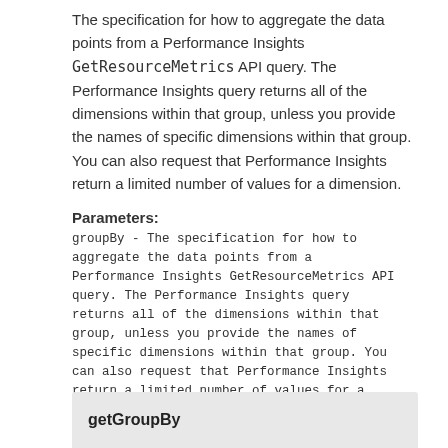The specification for how to aggregate the data points from a Performance Insights GetResourceMetrics API query. The Performance Insights query returns all of the dimensions within that group, unless you provide the names of specific dimensions within that group. You can also request that Performance Insights return a limited number of values for a dimension.
Parameters:
groupBy - The specification for how to aggregate the data points from a Performance Insights GetResourceMetrics API query. The Performance Insights query returns all of the dimensions within that group, unless you provide the names of specific dimensions within that group. You can also request that Performance Insights return a limited number of values for a dimension.
getGroupBy